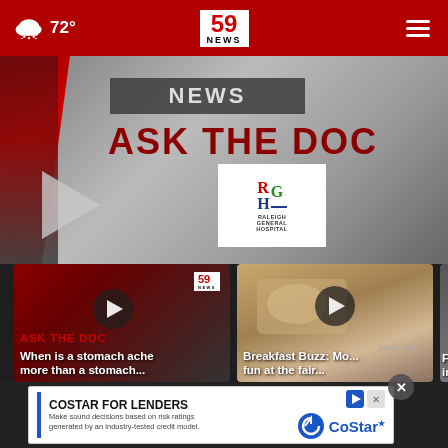72° | 59 NEWS
[Figure (screenshot): Video thumbnail for Ask The Doc segment featuring NEWS banner, Raleigh General Hospital logo, and large play button on a grey/red studio background]
[Figure (screenshot): Video card: When is a stomach ache more than a stomach... - 59 News Ask The Doc thumbnail with play button]
[Figure (screenshot): Video card: Breakfast Buzz: More fun at the fair... - blurred food image thumbnail with play button]
[Figure (screenshot): Partial video card: Fruits... in Bec...]
When is a stomach ache more than a stomach...
Breakfast Buzz: More fun at the fair...
Fruits... in Bec...
hours ago
[Figure (other): CoStar for Lenders advertisement banner: Make sound decisions based on risk ratings generated by an industry-tested credit model.]